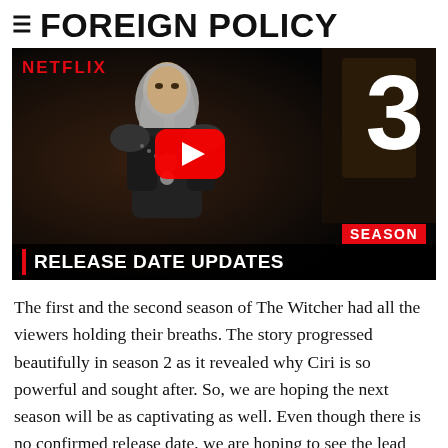≡ FOREIGN POLICY
[Figure (screenshot): YouTube-style video thumbnail showing a man in dark armor with long white hair (The Witcher character), with NETFLIX logo top-left, a red play button in the center, a large white '3' and red 'SEASON' label on the right, and a bottom bar reading '| RELEASE DATE UPDATES']
The first and the second season of The Witcher had all the viewers holding their breaths. The story progressed beautifully in season 2 as it revealed why Ciri is so powerful and sought after. So, we are hoping the next season will be as captivating as well. Even though there is no confirmed release date, we are hoping to see the lead trio back on our